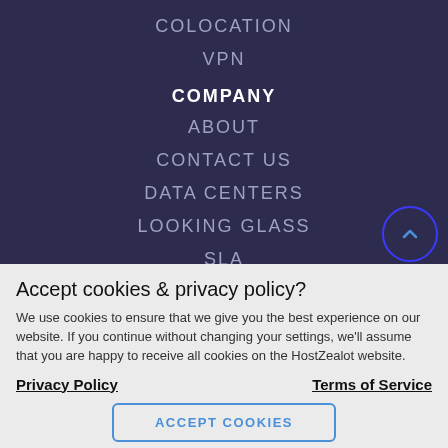COLOCATION
VPN
COMPANY
ABOUT
CONTACT US
DATA CENTERS
LOOKING GLASS
SLA
Accept cookies & privacy policy?
We use cookies to ensure that we give you the best experience on our website. If you continue without changing your settings, we'll assume that you are happy to receive all cookies on the HostZealot website.
Privacy Policy    Terms of Service
ACCEPT COOKIES